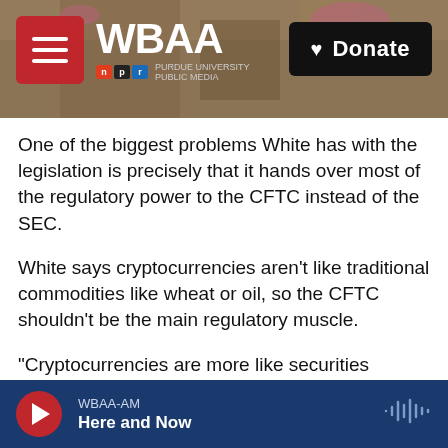[Figure (screenshot): WBAA NPR radio station website header with logo, menu button, tree branch background photo, and Donate button]
One of the biggest problems White has with the legislation is precisely that it hands over most of the regulatory power to the CFTC instead of the SEC.
White says cryptocurrencies aren't like traditional commodities like wheat or oil, so the CFTC shouldn't be the main regulatory muscle.
"Cryptocurrencies are more like securities because people broadly put money into them hoping for a return on their investment," White said. "And when someone is engaging with something as an
WBAA-AM  Here and Now